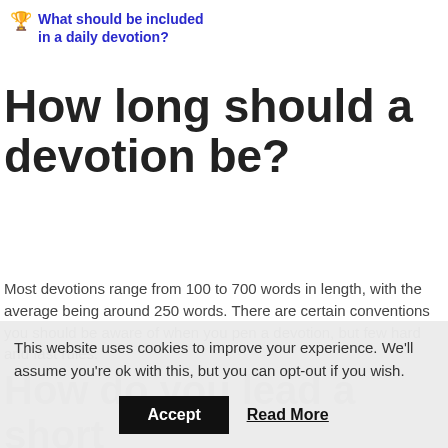🏆 What should be included in a daily devotion?
How long should a devotion be?
Most devotions range from 100 to 700 words in length, with the average being around 250 words. There are certain conventions you should be aware of when you pen a devotion, but few hard and fast rules.
How do you lead a short
This website uses cookies to improve your experience. We'll assume you're ok with this, but you can opt-out if you wish.
Accept   Read More